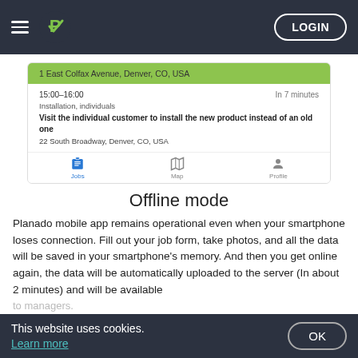LOGIN
[Figure (screenshot): Mobile app screenshot showing job cards with address '1 East Colfax Avenue, Denver, CO, USA' highlighted in green, a job entry for 15:00-16:00 'In 7 minutes', 'Installation, individuals', 'Visit the individual customer to install the new product instead of an old one', '22 South Broadway, Denver, CO, USA', with bottom navigation tabs: Jobs, Map, Profile]
Offline mode
Planado mobile app remains operational even when your smartphone loses connection. Fill out your job form, take photos, and all the data will be saved in your smartphone's memory. And then you get online again, the data will be automatically uploaded to the server (in about 2 minutes) and will be available to managers. The photos won't be uploaded with a slow Internet
This website uses cookies. Learn more OK